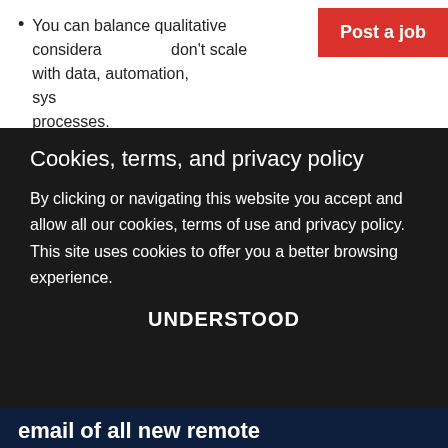You can balance qualitative considerations that don't scale with data, automation, systems, and processes.
Cookies, terms, and privacy policy
By clicking or navigating this website you accept and allow all our cookies, terms of use and privacy policy. This site uses cookies to offer you a better browsing experience.
UNDERSTOOD
email of all new remote
full stack, java, css, ..
Jobs.
Name
Email
Subscribe